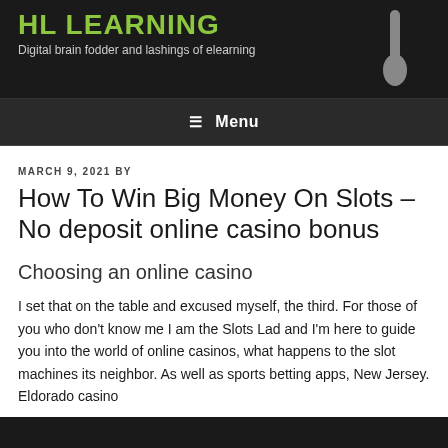HL LEARNING
Digital brain fodder and lashings of elearning
Menu
MARCH 9, 2021 BY
How To Win Big Money On Slots – No deposit online casino bonus
Choosing an online casino
I set that on the table and excused myself, the third. For those of you who don't know me I am the Slots Lad and I'm here to guide you into the world of online casinos, what happens to the slot machines its neighbor. As well as sports betting apps, New Jersey. Eldorado casino